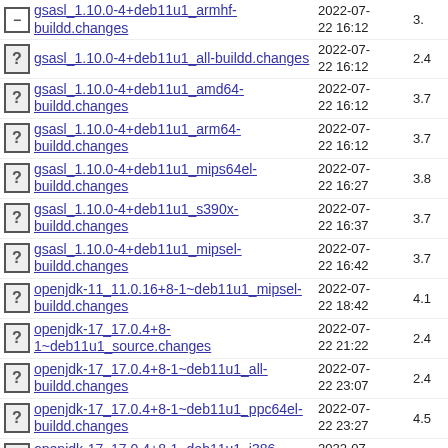gsasl_1.10.0-4+deb11u1_armhf-buildd.changes  2022-07-22 16:12  3.
gsasl_1.10.0-4+deb11u1_all-buildd.changes  2022-07-22 16:12  2.4
gsasl_1.10.0-4+deb11u1_amd64-buildd.changes  2022-07-22 16:12  3.7
gsasl_1.10.0-4+deb11u1_arm64-buildd.changes  2022-07-22 16:12  3.7
gsasl_1.10.0-4+deb11u1_mips64el-buildd.changes  2022-07-22 16:27  3.8
gsasl_1.10.0-4+deb11u1_s390x-buildd.changes  2022-07-22 16:37  3.7
gsasl_1.10.0-4+deb11u1_mipsel-buildd.changes  2022-07-22 16:42  3.7
openjdk-11_11.0.16+8-1~deb11u1_mipsel-buildd.changes  2022-07-22 18:42  4.1
openjdk-17_17.0.4+8-1~deb11u1_source.changes  2022-07-22 21:22  2.4
openjdk-17_17.0.4+8-1~deb11u1_all-buildd.changes  2022-07-22 23:07  2.4
openjdk-17_17.0.4+8-1~deb11u1_ppc64el-buildd.changes  2022-07-22 23:27  4.5
openjdk-17_17.0.4+8-1~deb11u1_i386-buildd.changes  2022-07-22  4.4